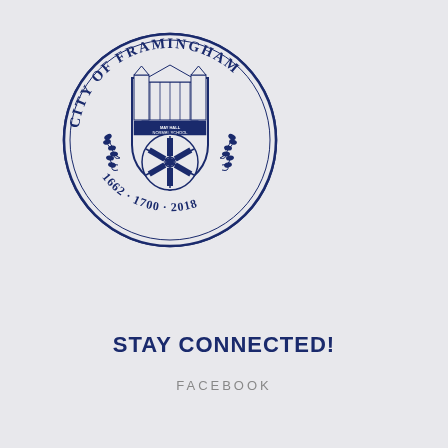[Figure (logo): City of Framingham official seal — circular seal with text 'CITY OF FRAMINGHAM' around the top, a shield containing buildings (May Hall Normal School) and a millwheel/windmill, laurel branches, and dates '1662 · 1700 · 2018' at the bottom]
STAY CONNECTED!
FACEBOOK